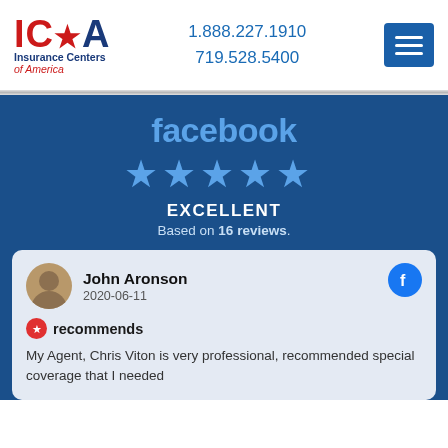[Figure (logo): ICA Insurance Centers of America logo with red and blue text]
1.888.227.1910
719.528.5400
[Figure (other): Hamburger menu button (three horizontal lines) in blue square]
facebook
[Figure (other): Five blue stars rating]
EXCELLENT
Based on 16 reviews.
John Aronson
2020-06-11
recommends
My Agent, Chris Viton is very professional, recommended special coverage that I needed